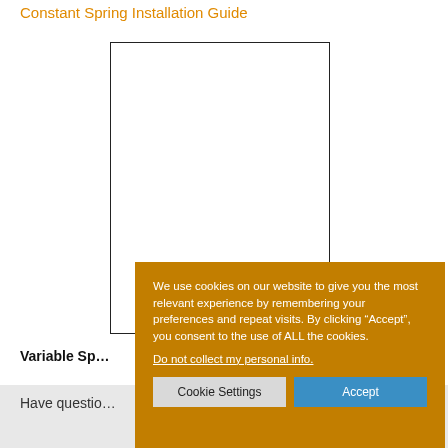Constant Spring Installation Guide
[Figure (other): Empty white rectangle with black border, representing a placeholder image for the installation guide.]
Variable Sp...
Have questio...
a quote?
We use cookies on our website to give you the most relevant experience by remembering your preferences and repeat visits. By clicking “Accept”, you consent to the use of ALL the cookies.
Do not collect my personal info.
Cookie Settings
Accept